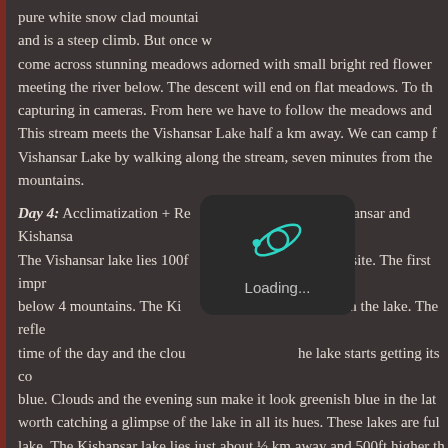pure white snow clad mountains and is a steep climb. But once we come across stunning meadows adorned with small bright red flowers meeting the river below. The descent will end on flat meadows. To the capturing in cameras. From here we have to follow the meadows and This stream meets the Vishansar Lake half a km away. We can camp for Vishansar Lake by walking along the stream, seven minutes from the mountains.
Day 4: Acclimatization + Rest. Explore Vishansar and Kishansar Lakes. The Vishansar lake lies 100ft from the campsite. The first impression below 4 mountains. The Kishansar lake reflects in the lake. The reflection time of the day and the clouds. The lake starts getting its color deep blue. Clouds and the evening sun make it look greenish blue in the late worth catching a glimpse of the lake in all its hues. These lakes are full lake. The Kishansar lake lies just about ½ km away and 500ft higher than big and blue. It has a big meadow stretching on its right. The lake and The trail climbs up to the top of the ridge and on the top of the ridge is lake from various angles.
Day 5: Vishansar (12,000 ft.) to Gadsar (12,000 ft.) via Kishasar Lake
[Figure (screenshot): Loading spinner overlay with a teal/cyan orbit icon and 'Loading...' text on dark rounded rectangle background]